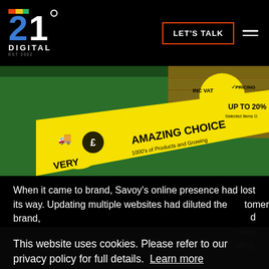21 DIGITAL EST 2002 | LET'S TALK
[Figure (photo): Marketing image showing a yellow promotional banner over green grass background with text: INC VAT, AMAZING CHOICE 1000's of Products and Growing, UP TO 20% [off] Selected Items, DELIVERY, icons of truck and price tag]
When it came to brand, Savoy's online presence had lost its way. Updating multiple websites had diluted the brand, [customer] [d] [way] [sted,]
This website uses cookies. Please refer to our privacy policy for full details. Learn more
Got it!
21 Digital creative agency put on eye-catching new visual